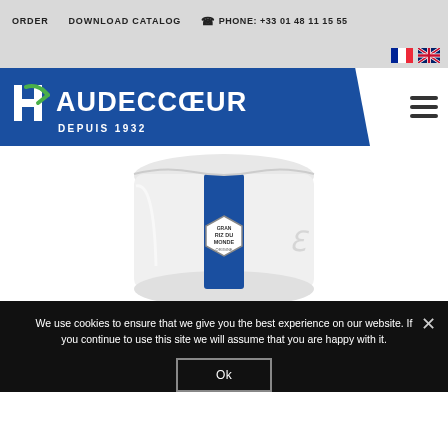ORDER   DOWNLOAD CATALOG   ☎ PHONE: +33 01 48 11 15 55
[Figure (logo): Haudecoeur Depuis 1932 logo with blue background and green checkmark on H]
[Figure (photo): White rice bag product with blue stripe and hexagonal label reading RIZ DU MONDE]
We use cookies to ensure that we give you the best experience on our website. If you continue to use this site we will assume that you are happy with it.